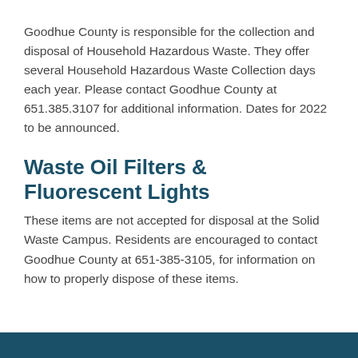Goodhue County is responsible for the collection and disposal of Household Hazardous Waste. They offer several Household Hazardous Waste Collection days each year. Please contact Goodhue County at 651.385.3107 for additional information. Dates for 2022 to be announced.
Waste Oil Filters & Fluorescent Lights
These items are not accepted for disposal at the Solid Waste Campus. Residents are encouraged to contact Goodhue County at 651-385-3105, for information on how to properly dispose of these items.